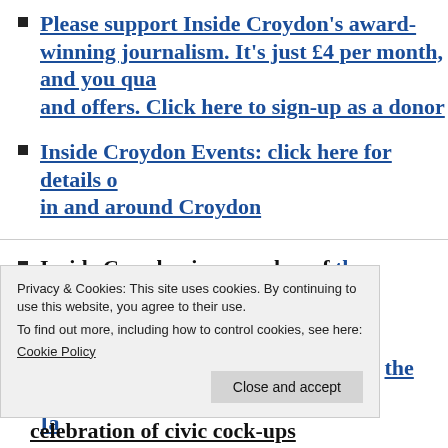Please support Inside Croydon's award-winning journalism. It's just £4 per month, and you qualify and offers. Click here to sign-up as a donor
Inside Croydon Events: click here for details of in and around Croydon
Inside Croydon is a member of the Independent Community News Network
Inside Croydon works together with the Bureau of Investigative Journalism and BBC London News
Privacy & Cookies: This site uses cookies. By continuing to use this website, you agree to their use. To find out more, including how to control cookies, see here: Cookie Policy
celebration of civic cock-ups